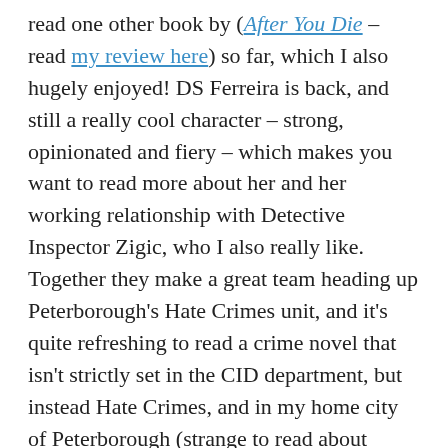read one other book by (After You Die – read my review here) so far, which I also hugely enjoyed! DS Ferreira is back, and still a really cool character – strong, opinionated and fiery – which makes you want to read more about her and her working relationship with Detective Inspector Zigic, who I also really like. Together they make a great team heading up Peterborough's Hate Crimes unit, and it's quite refreshing to read a crime novel that isn't strictly set in the CID department, but instead Hate Crimes, and in my home city of Peterborough (strange to read about murders and such in Ferry Meadows, somewhere I used to go a lot when I lived in